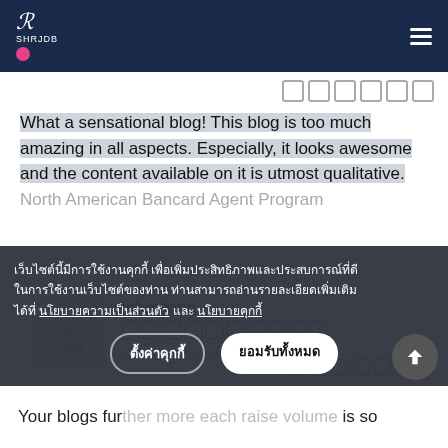R SHRJDB [logo] [hamburger menu]
What a sensational blog! This blog is too much amazing in all aspects. Especially, it looks awesome and the content available on it is utmost qualitative. North American Bancard Agent Program
johnyking
★★★★★★★★★★
johnyking592004@gmail.com
เว็บไซต์นี้มีการใช้งานคุกกี้ เพื่อเพิ่มประสิทธิภาพและประสบการณ์ที่ดีในการใช้งานเว็บไซต์ของท่าน ท่านสามารถอ่านรายละเอียดเพิ่มเติมได้ที่ นโยบายความเป็นส่วนตัว และ นโยบายคุกกี้
ตั้งค่าคุกกี้  ยอมรับทั้งหมด
Your blogs further more each raise volume is so